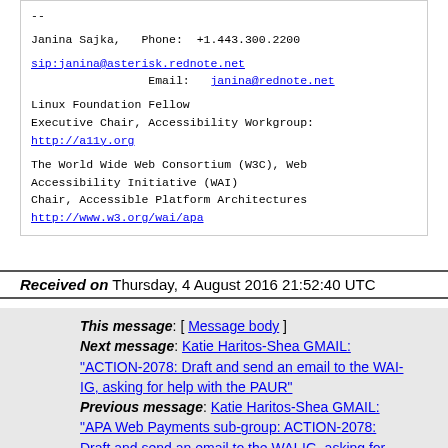--

Janina Sajka,   Phone:  +1.443.300.2200

sip:janina@asterisk.rednote.net
                Email:   janina@rednote.net

Linux Foundation Fellow
Executive Chair, Accessibility Workgroup:
http://a11y.org

The World Wide Web Consortium (W3C), Web
Accessibility Initiative (WAI)
Chair, Accessible Platform Architectures
http://www.w3.org/wai/apa
Received on Thursday, 4 August 2016 21:52:40 UTC
This message: [ Message body ]
Next message: Katie Haritos-Shea GMAIL: "ACTION-2078: Draft and send an email to the WAI-IG, asking for help with the PAUR"
Previous message: Katie Haritos-Shea GMAIL: "APA Web Payments sub-group: ACTION-2078: Draft and send an email to the WAI-IG, asking for